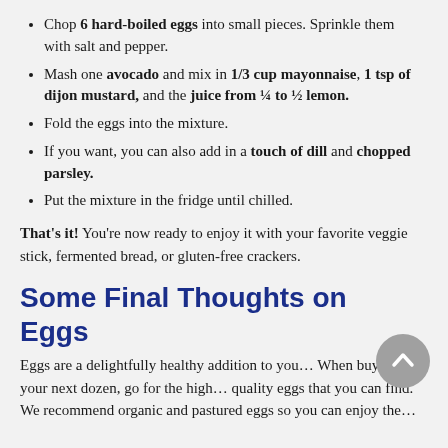Chop 6 hard-boiled eggs into small pieces. Sprinkle them with salt and pepper.
Mash one avocado and mix in 1/3 cup mayonnaise, 1 tsp of dijon mustard, and the juice from ¼ to ½ lemon.
Fold the eggs into the mixture.
If you want, you can also add in a touch of dill and chopped parsley.
Put the mixture in the fridge until chilled.
That's it! You're now ready to enjoy it with your favorite veggie stick, fermented bread, or gluten-free crackers.
Some Final Thoughts on Eggs
Eggs are a delightfully healthy addition to you… When buying your next dozen, go for the high… quality eggs that you can find. We recommend organic and pastured eggs so you can enjoy the…